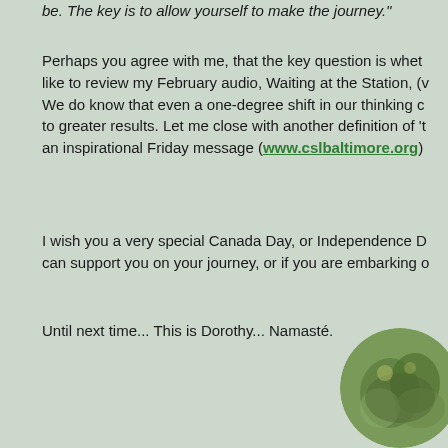be. The key is to allow yourself to make the journey."
Perhaps you agree with me, that the key question is whet like to review my February audio, Waiting at the Station, (v We do know that even a one-degree shift in our thinking c to greater results. Let me close with another definition of 't an inspirational Friday message (www.cslbaltimore.org)
I wish you a very special Canada Day, or Independence D can support you on your journey, or if you are embarking o
Until next time... This is Dorothy... Namasté.
[Figure (photo): Circular portrait photo of Dorothy, with greenery/garden background]